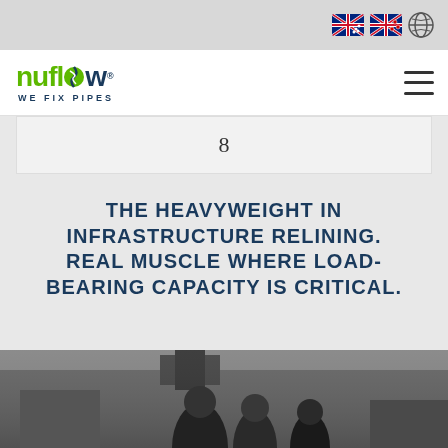[Figure (logo): Navigation bar with Australian/NZ flags, globe icon, Nuflow 'We Fix Pipes' logo, and hamburger menu]
8
THE HEAVYWEIGHT IN INFRASTRUCTURE RELINING. REAL MUSCLE WHERE LOAD-BEARING CAPACITY IS CRITICAL.
[Figure (photo): Black and white photo of people in what appears to be an industrial or gymnasium setting, partially visible at bottom of page]